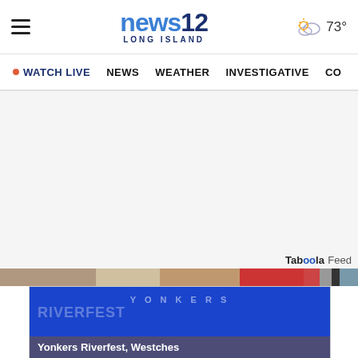news12 LONG ISLAND — 73°
WATCH LIVE
NEWS
WEATHER
INVESTIGATIVE
CO
[Figure (screenshot): Taboola Feed content area with empty ad space]
[Figure (photo): Horizontal image strip showing partial photos]
[Figure (screenshot): Yonkers Riverfest card with blue banner and white text reading YONKERS RIVERFEST]
Yonkers Riverfest, Westches